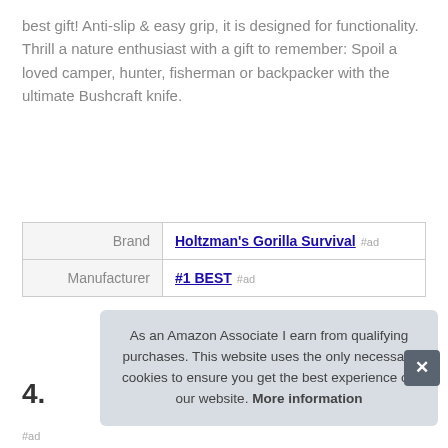best gift! Anti-slip & easy grip, it is designed for functionality. Thrill a nature enthusiast with a gift to remember: Spoil a loved camper, hunter, fisherman or backpacker with the ultimate Bushcraft knife.
| Brand | Holtzman's Gorilla Survival #ad |
| Manufacturer | #1 BEST #ad |
More information #ad
4.
As an Amazon Associate I earn from qualifying purchases. This website uses the only necessary cookies to ensure you get the best experience on our website. More information